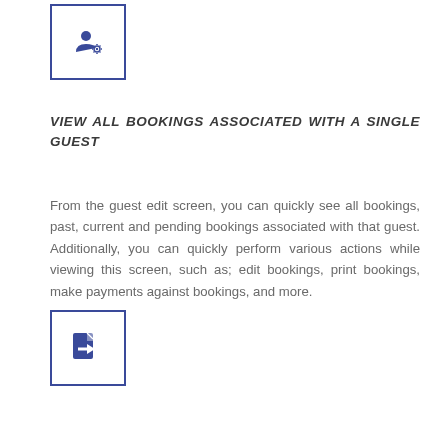[Figure (illustration): Blue bordered square icon containing a person/user with a gear/settings icon]
VIEW ALL BOOKINGS ASSOCIATED WITH A SINGLE GUEST
From the guest edit screen, you can quickly see all bookings, past, current and pending bookings associated with that guest. Additionally, you can quickly perform various actions while viewing this screen, such as; edit bookings, print bookings, make payments against bookings, and more.
[Figure (illustration): Blue bordered square icon containing a document/file with an arrow pointing right (export/open icon)]